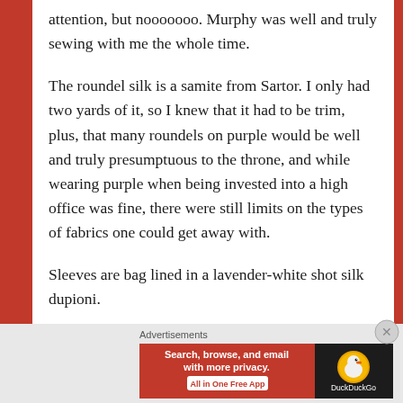attention, but nooooooo. Murphy was well and truly sewing with me the whole time.
The roundel silk is a samite from Sartor. I only had two yards of it, so I knew that it had to be trim, plus, that many roundels on purple would be well and truly presumptuous to the throne, and while wearing purple when being invested into a high office was fine, there were still limits on the types of fabrics one could get away with.
Sleeves are bag lined in a lavender-white shot silk dupioni.
[Figure (infographic): DuckDuckGo advertisement banner with red background on left reading 'Search, browse, and email with more privacy. All in One Free App' and DuckDuckGo duck logo on dark right side.]